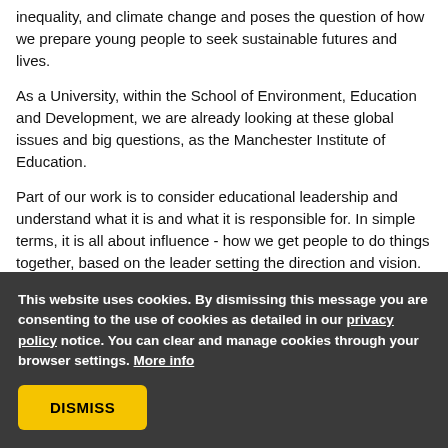inequality, and climate change and poses the question of how we prepare young people to seek sustainable futures and lives.
As a University, within the School of Environment, Education and Development, we are already looking at these global issues and big questions, as the Manchester Institute of Education.
Part of our work is to consider educational leadership and understand what it is and what it is responsible for. In simple terms, it is all about influence - how we get people to do things together, based on the leader setting the direction and vision. There are different ways of exerting influence.
This website uses cookies. By dismissing this message you are consenting to the use of cookies as detailed in our privacy policy notice. You can clear and manage cookies through your browser settings. More info